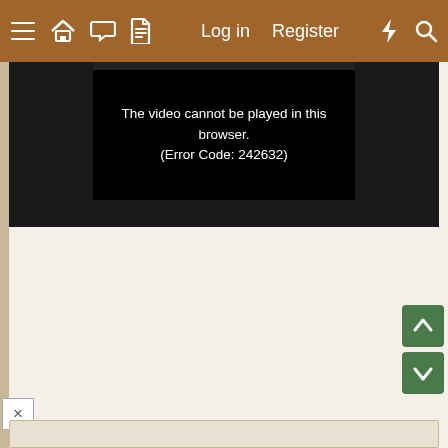≡ 🏠 💬 📄  Log in  Register  ⚡ 🔍
[Figure (screenshot): Video player showing error message: 'The video cannot be played in this browser. (Error Code: 242632)' on a black background]
The video cannot be played in this browser. (Error Code: 242632)
[Figure (other): Green scroll-up button with upward arrow]
[Figure (other): Green scroll-down button with downward arrow]
[Figure (other): Close button (X) in bottom left]
[Figure (other): Bottom input/text area bar]